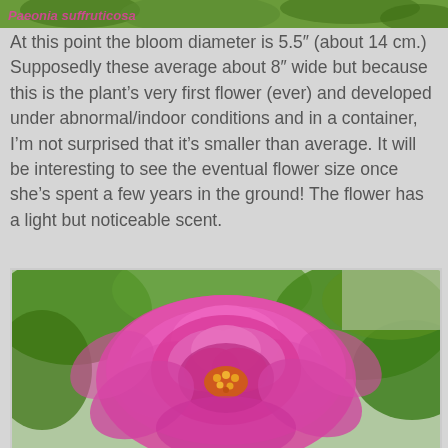[Figure (photo): Partial view of a pink peony flower with green leaves, shown at top of page (cropped strip). Pink text overlay visible.]
At this point the bloom diameter is 5.5" (about 14 cm.) Supposedly these average about 8" wide but because this is the plant's very first flower (ever) and developed under abnormal/indoor conditions and in a container, I'm not surprised that it's smaller than average. It will be interesting to see the eventual flower size once she's spent a few years in the ground! The flower has a light but noticeable scent.
[Figure (photo): A large bright pink peony flower in full bloom, with green jagged leaves visible in the background. The flower center shows yellow stamens.]